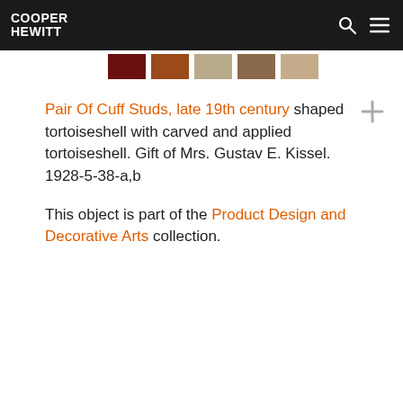COOPER HEWITT
[Figure (other): Five color swatches showing shades of brown and tan: dark brown, medium brown, light tan/beige, medium brown, light tan]
Pair Of Cuff Studs, late 19th century shaped tortoiseshell with carved and applied tortoiseshell. Gift of Mrs. Gustav E. Kissel. 1928-5-38-a,b
This object is part of the Product Design and Decorative Arts collection.